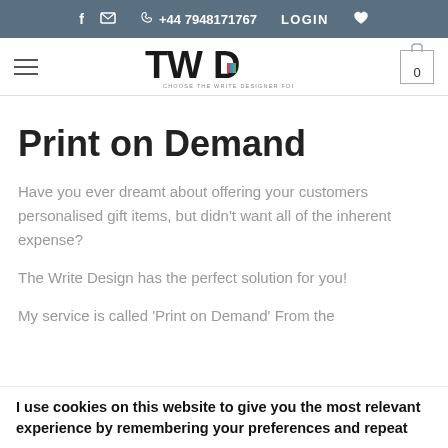f ✉ +44 7948171767 LOGIN ♥
[Figure (logo): TWD logo - The Write Designer for You, with hamburger menu icon on left and cart icon with 0 on right]
Print on Demand
Have you ever dreamt about offering your customers personalised gift items, but didn't want all of the inherent expense?
The Write Design has the perfect solution for you!
My service is called 'Print on Demand' From the
I use cookies on this website to give you the most relevant experience by remembering your preferences and repeat